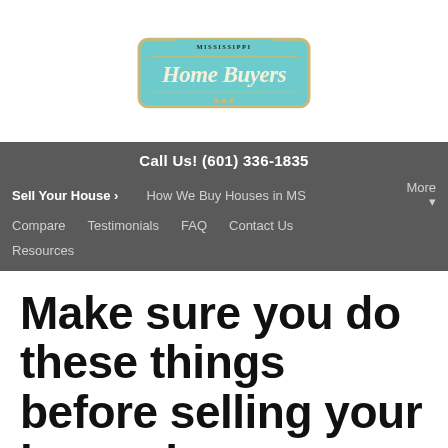[Figure (logo): Mississippi Home Buyers logo — vintage car style badge with teal/turquoise background and cream lettering reading 'Home Buyers' with 'MISSISSIPPI' above in smaller text]
Call Us! (601) 336-1835
Sell Your House ›   How We Buy Houses in MS
Compare   Testimonials   FAQ   Contact Us   More ▾
Resources
Make sure you do these things before selling your house in